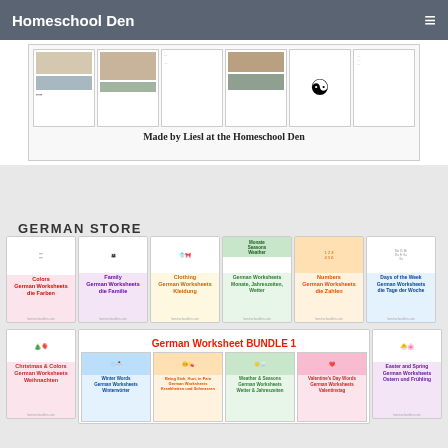Homeschool Den
[Figure (illustration): Preview thumbnails of homeschool worksheets with history/culture images and a yin-yang symbol, with caption 'Made by Liesl at the Homeschool Den']
GERMAN STORE
[Figure (illustration): Grid of German worksheet bundle covers: Colors (die Farben), Family (die Familie), Clothing (Kleidung), Months/Seasons/Weather, Numbers (die Zahlen), Days of the Week (die Tage der Woche), Christmas & Colors Weihnachten, German Worksheet BUNDLE 1, Winter Words Winterwörter, Being Sick/Hurt Krankheiten und Schmerzen, Weather & Seasons Wetter & Jahreszeiten, Valentine's Day Valentinstag, Easter and Spring Ostern und Frühling]